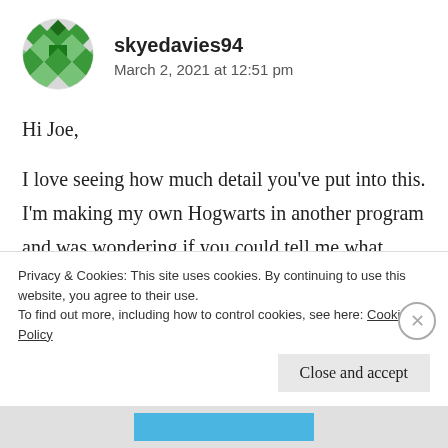[Figure (illustration): Circular avatar icon with green quilt/diamond pattern on light background]
skyedavies94
March 2, 2021 at 12:51 pm
Hi Joe,

I love seeing how much detail you've put into this. I'm making my own Hogwarts in another program and was wondering if you could tell me what angle the Great Hall and Entrance Courtyard is at from the Grand Staircase Tower and The Quad? It seems
Privacy & Cookies: This site uses cookies. By continuing to use this website, you agree to their use.
To find out more, including how to control cookies, see here: Cookie Policy
Close and accept